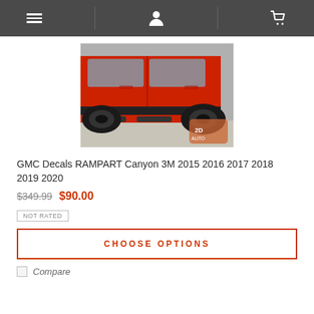[navigation: menu, user, cart icons]
[Figure (photo): Red GMC Canyon truck showing side steps/running boards along the lower body, with a brand logo watermark in the bottom right corner]
GMC Decals RAMPART Canyon 3M 2015 2016 2017 2018 2019 2020
$349.99  $90.00
NOT RATED
CHOOSE OPTIONS
Compare